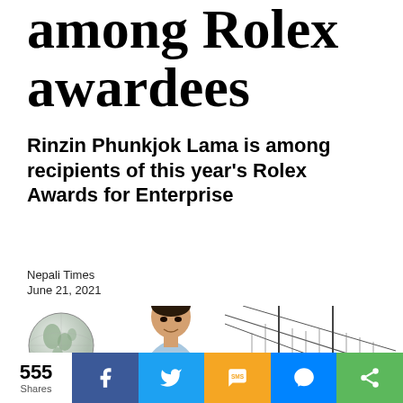among Rolex awardees
Rinzin Phunkjok Lama is among recipients of this year's Rolex Awards for Enterprise
Nepali Times
June 21, 2021
[Figure (photo): Globe icon and a man (Rinzin Phunkjok Lama) in light blue shirt with a sketch of a suspension bridge in the background]
555 Shares